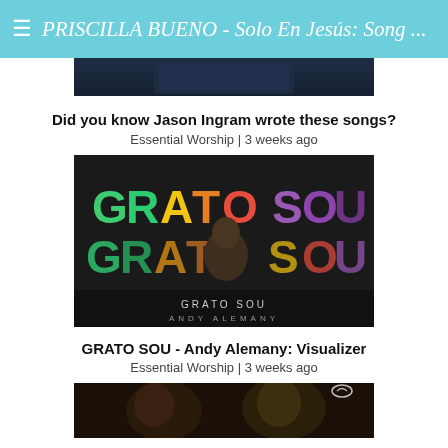≡ PRISCILLA BUENO - Solo En Jesús: Song ...
[Figure (screenshot): Partial thumbnail of a dark video, showing a person in dark clothing, cropped at top]
Did you know Jason Ingram wrote these songs?
Essential Worship | 3 weeks ago
[Figure (screenshot): Thumbnail for GRATO SOU - Andy Alemany Visualizer. Colorful rainbow text GRATO SOU with a man standing in front, text below reads GRATO SOU ANDY ALEMANY]
GRATO SOU - Andy Alemany: Visualizer
Essential Worship | 3 weeks ago
[Figure (screenshot): Partial thumbnail of a video showing two men with eyes closed, partial view at bottom of page]